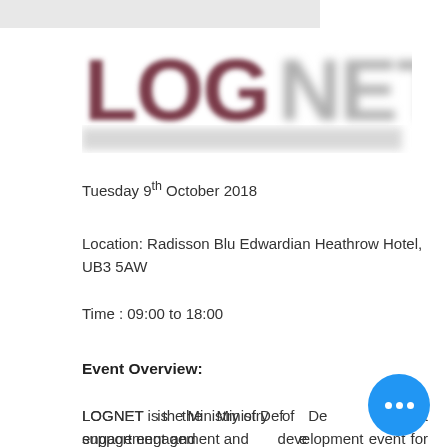[Figure (logo): LOGNET logo — bold dark red/maroon 'LOG' text followed by partially blurred grey 'NET' text, with a blurred subtitle line below]
Tuesday 9th October 2018
Location: Radisson Blu Edwardian Heathrow Hotel, UB3 5AW
Time : 09:00 to 18:00
Event Overview:
LOGNET is the Ministry of Defence support engagement and knowledge development event for the Defence